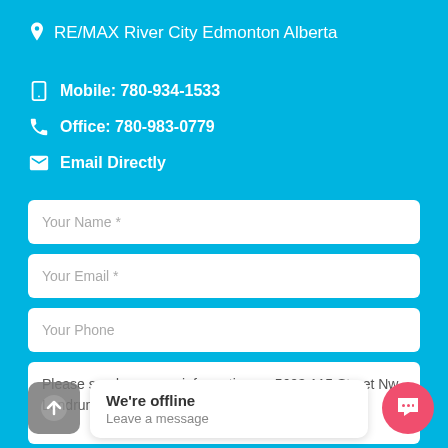RE/MAX River City Edmonton Alberta
Mobile: 780-934-1533
Office: 780-983-0779
Email Directly
Your Name *
Your Email *
Your Phone
Please send me more information on 5603 115 Street Nw, Lendrum Place, . Thank you.
We're offline
Leave a message